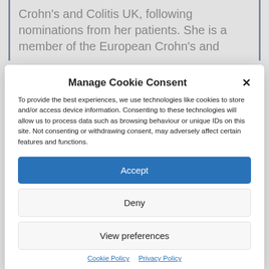Crohn's and Colitis UK, following nominations from her patients. She is a member of the European Crohn's and
Manage Cookie Consent
To provide the best experiences, we use technologies like cookies to store and/or access device information. Consenting to these technologies will allow us to process data such as browsing behaviour or unique IDs on this site. Not consenting or withdrawing consent, may adversely affect certain features and functions.
Accept
Deny
View preferences
Cookie Policy  Privacy Policy